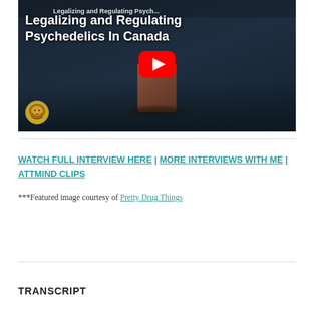[Figure (screenshot): YouTube video thumbnail showing 'Legalizing and Regulating Psychedelics In Canada' with red play button, dark blue background, channel icon of a lion in bottom left]
WATCH FULL INTERVIEW HERE | MORE INTERVIEWS WITH ME | ATTMIND CLIPS
***Featured image courtesy of Pretty Drug Things
TRANSCRIPT